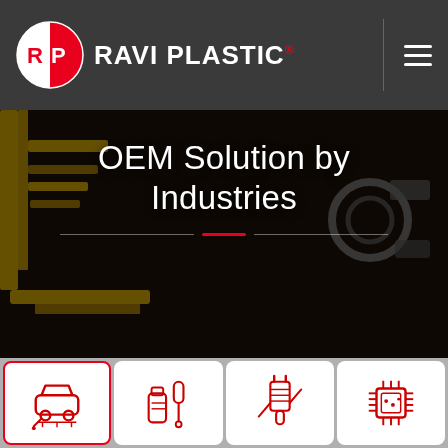[Figure (logo): Ravi Plastic logo: red circle with RP letters, white and red halves]
RAVI PLASTIC®
[Figure (photo): Industrial manufacturing scene showing underside of a vehicle on an assembly line with yellow robotic arms, dark overlay]
OEM Solution by Industries
[Figure (infographic): Grid of 8 industry icons: automotive (car with wrench), chemical/tool (bottle and tools), filter/connector (plug filter), electronics (circuit chip), sports/rods, pharmaceuticals (medicine bottles), plumbing (toilet), construction (worker with helmet)]